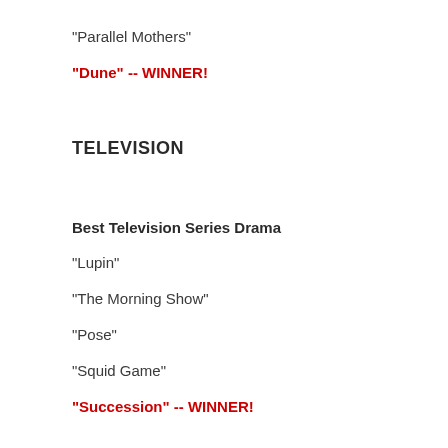"Parallel Mothers"
"Dune" -- WINNER!
TELEVISION
Best Television Series Drama
"Lupin"
"The Morning Show"
"Pose"
"Squid Game"
"Succession" -- WINNER!